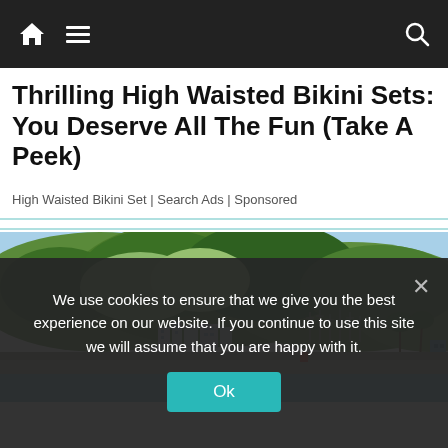Navigation bar with home icon, menu icon, search icon
Thrilling High Waisted Bikini Sets: You Deserve All The Fun (Take A Peek)
High Waisted Bikini Set | Search Ads | Sponsored
[Figure (photo): Coastal landscape photo showing a lush green forested hillside, resort buildings along the shoreline, marina with masts, and calm blue water in the foreground under a blue sky.]
We use cookies to ensure that we give you the best experience on our website. If you continue to use this site we will assume that you are happy with it.